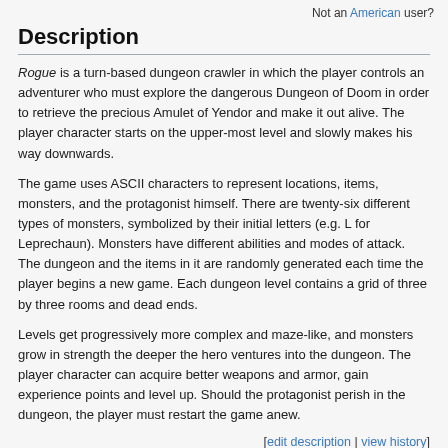Not an American user?
Description
Rogue is a turn-based dungeon crawler in which the player controls an adventurer who must explore the dangerous Dungeon of Doom in order to retrieve the precious Amulet of Yendor and make it out alive. The player character starts on the upper-most level and slowly makes his way downwards.
The game uses ASCII characters to represent locations, items, monsters, and the protagonist himself. There are twenty-six different types of monsters, symbolized by their initial letters (e.g. L for Leprechaun). Monsters have different abilities and modes of attack. The dungeon and the items in it are randomly generated each time the player begins a new game. Each dungeon level contains a grid of three by three rooms and dead ends.
Levels get progressively more complex and maze-like, and monsters grow in strength the deeper the hero ventures into the dungeon. The player character can acquire better weapons and armor, gain experience points and level up. Should the protagonist perish in the dungeon, the player must restart the game anew.
[edit description | view history]
Screenshots